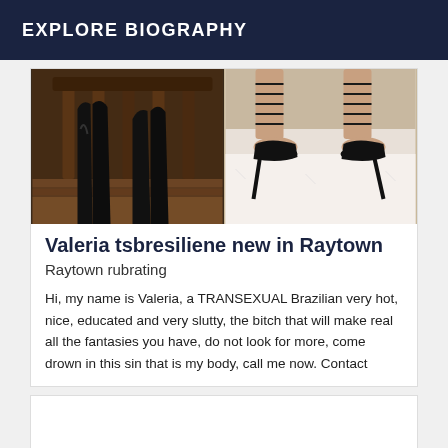EXPLORE BIOGRAPHY
[Figure (photo): Two photos side by side: left shows black high-heeled boots on a wooden floor with wooden banister; right shows black strappy high-heeled sandals on a white fur rug.]
Valeria tsbresiliene new in Raytown
Raytown rubrating
Hi, my name is Valeria, a TRANSEXUAL Brazilian very hot, nice, educated and very slutty, the bitch that will make real all the fantasies you have, do not look for more, come drown in this sin that is my body, call me now. Contact